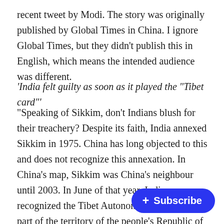recent tweet by Modi. The story was originally published by Global Times in China. I ignore Global Times, but they didn't publish this in English, which means the intended audience was different.
'India felt guilty as soon as it played the "Tibet card"'
“Speaking of Sikkim, don't Indians blush for their treachery? Despite its faith, India annexed Sikkim in 1975. China has long objected to this and does not recognize this annexation. In China’s map, Sikkim was China's neighbour until 2003. In June of that year, India recognized the Tibet Autonomous Region as a part of the territory of the people's Republic of China and reiterated that Tibetans were not out political activities against China article.